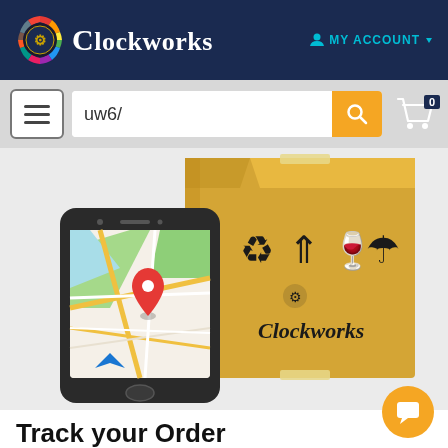[Figure (screenshot): Clockworks e-commerce website navigation bar with dark navy background, Clockworks logo with decorative emblem on left, 'MY ACCOUNT' link with dropdown arrow on right in teal color]
[Figure (screenshot): Search bar row with hamburger menu button, search input field containing 'uw6/', orange search button with magnifying glass icon, and shopping cart icon with '0' badge]
[Figure (illustration): Hero image showing a smartphone with a map/navigation app displaying a red location pin, overlaid in front of a cardboard shipping box with recycling, fragile, and Clockworks branding symbols on it. Background is light gray.]
Track your Order
[Figure (other): Orange circular chat/support button with speech bubble icon in bottom right corner]